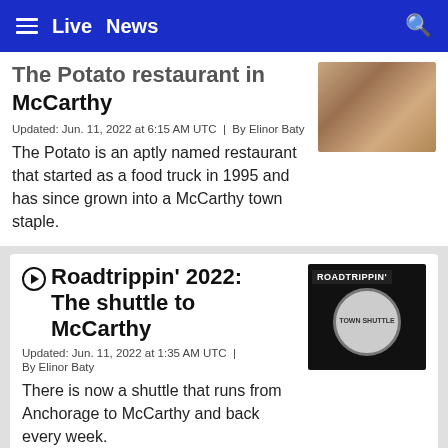≡  Live  News  🔍
The Potato restaurant in McCarthy
Updated: Jun. 11, 2022 at 6:15 AM UTC  |  By Elinor Baty
The Potato is an aptly named restaurant that started as a food truck in 1995 and has since grown into a McCarthy town staple.
▶ Roadtrippin' 2022: The shuttle to McCarthy
Updated: Jun. 11, 2022 at 1:35 AM UTC  |  By Elinor Baty
There is now a shuttle that runs from Anchorage to McCarthy and back every week.
▶ Roadtrippin' 2022: Beyond the end of the